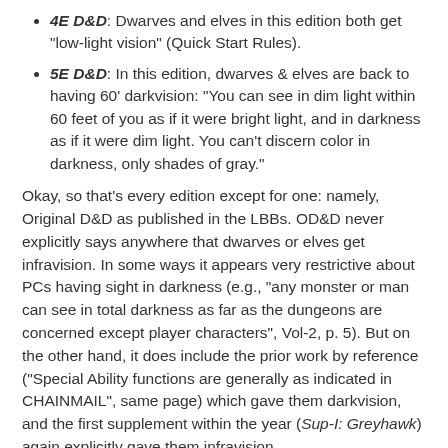4E D&D: Dwarves and elves in this edition both get "low-light vision" (Quick Start Rules).
5E D&D: In this edition, dwarves & elves are back to having 60' darkvision: "You can see in dim light within 60 feet of you as if it were bright light, and in darkness as if it were dim light. You can't discern color in darkness, only shades of gray."
Okay, so that's every edition except for one: namely, Original D&D as published in the LBBs. OD&D never explicitly says anywhere that dwarves or elves get infravision. In some ways it appears very restrictive about PCs having sight in darkness (e.g., "any monster or man can see in total darkness as far as the dungeons are concerned except player characters", Vol-2, p. 5). But on the other hand, it does include the prior work by reference ("Special Ability functions are generally as indicated in CHAINMAIL", same page) which gave them darkvision, and the first supplement within the year (Sup-I: Greyhawk) again explicitly gave them infravision.